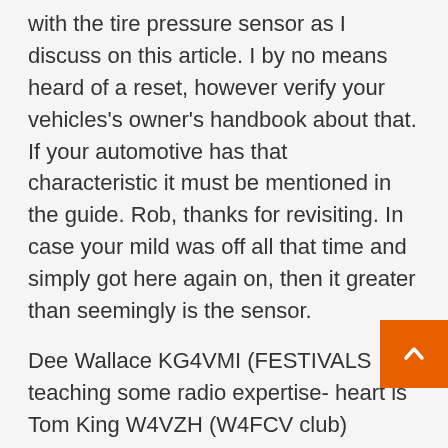with the tire pressure sensor as I discuss on this article. I by no means heard of a reset, however verify your vehicles's owner's handbook about that. If your automotive has that characteristic it must be mentioned in the guide. Rob, thanks for revisiting. In case your mild was off all that time and simply got here again on, then it greater than seemingly is the sensor.
Dee Wallace KG4VMI (FESTIVALS teaching some radio expertise- heart is Tom King W4VZH (W4FCV club) directing the club day at the High School. Chris Walters on the precise is without doubt one of the membership members. This was a weird case, and an educated guess as to what occurred; nonetheless, there actu is not some other clarification. The onerous drive wouldn't even spin. Solely the devices that produce a